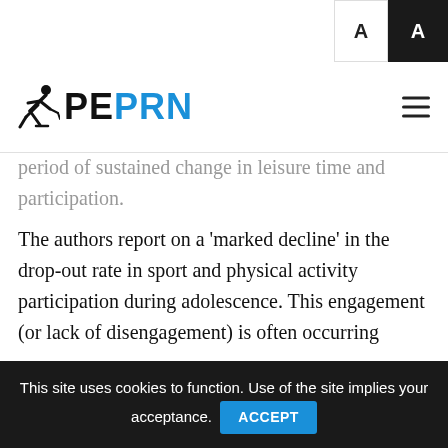PEPRN
period of sustained change in leisure time and participation. The authors report on a ‘marked decline’ in the drop-out rate in sport and physical activity participation during adolescence. This engagement (or lack of disengagement) is often occurring within health and fitness environments, with “a small minority playing competitive sports”.
But why?
This site uses cookies to function. Use of the site implies your acceptance.